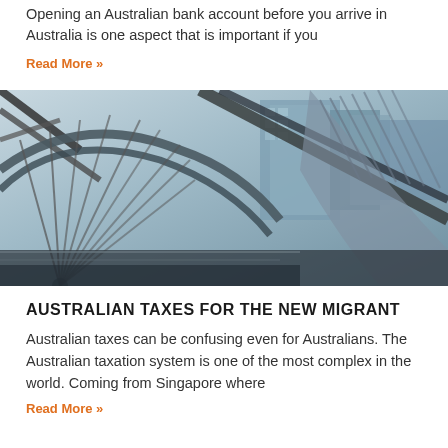Opening an Australian bank account before you arrive in Australia is one aspect that is important if you
Read More »
[Figure (photo): Architecture photo showing a modern building structure with glass and steel framework, geometric patterns, looking upward at an angle with city buildings in background]
AUSTRALIAN TAXES FOR THE NEW MIGRANT
Australian taxes can be confusing even for Australians. The Australian taxation system is one of the most complex in the world. Coming from Singapore where
Read More »